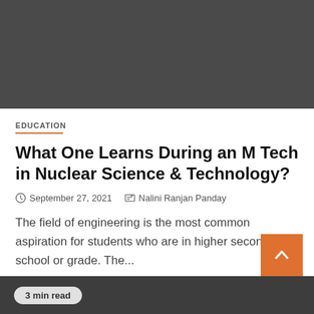[Figure (photo): Dark gray banner image placeholder at top of article page]
EDUCATION
What One Learns During an M Tech in Nuclear Science & Technology?
September 27, 2021   Nalini Ranjan Panday
The field of engineering is the most common aspiration for students who are in higher secondary school or grade. The...
3 min read